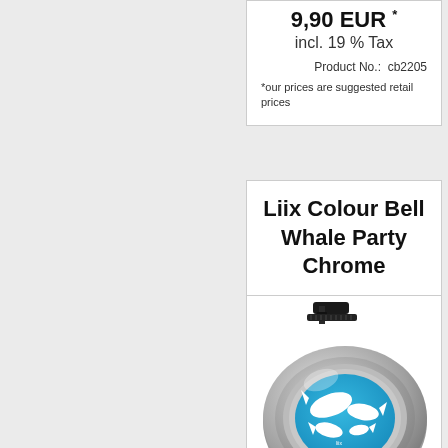9,90 EUR *
incl. 19 % Tax
Product No.:  cb2205
*our prices are suggested retail prices
Liix Colour Bell Whale Party Chrome
[Figure (photo): Chrome bicycle bell with blue top featuring white whale silhouettes, with black mounting bracket visible at top]
9,90 EUR *
incl. 19 % Tax